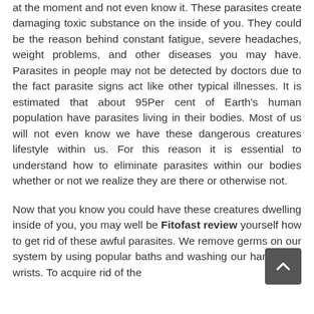at the moment and not even know it. These parasites create damaging toxic substance on the inside of you. They could be the reason behind constant fatigue, severe headaches, weight problems, and other diseases you may have. Parasites in people may not be detected by doctors due to the fact parasite signs act like other typical illnesses. It is estimated that about 95Per cent of Earth's human population have parasites living in their bodies. Most of us will not even know we have these dangerous creatures lifestyle within us. For this reason it is essential to understand how to eliminate parasites within our bodies whether or not we realize they are there or otherwise not.
Now that you know you could have these creatures dwelling inside of you, you may well be Fitofast review yourself how to get rid of these awful parasites. We remove germs on our system by using popular baths and washing our hands and wrists. To acquire rid of the